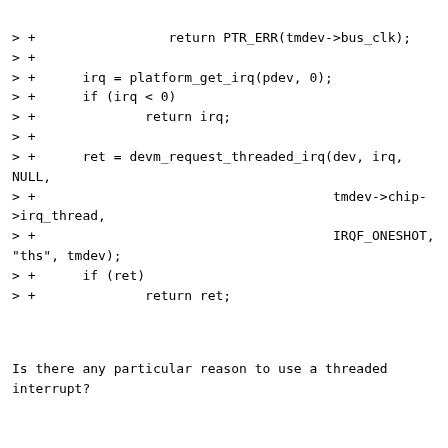> +                 return PTR_ERR(tmdev->bus_clk);
> +
> +      irq = platform_get_irq(pdev, 0);
> +      if (irq < 0)
> +              return irq;
> +
> +      ret = devm_request_threaded_irq(dev, irq, NULL,
> +                                      tmdev->chip-
>irq_thread,
> +                                      IRQF_ONESHOT,
"ths", tmdev);
> +      if (ret)
> +              return ret;
Is there any particular reason to use a threaded
interrupt?
Also, starting from here you can start having
interrupts...
> +
> +      ret = reset_control_deassert(tmdev->reset);
> +      if (ret)
> +              return ret;
> +
> +      ret = clk_prepare_enable(tmdev->bus_clk);
> +      if (ret)
> +              goto assert_reset;
> +
> +      ret = tmdev->chip->calibrate(tmdev);